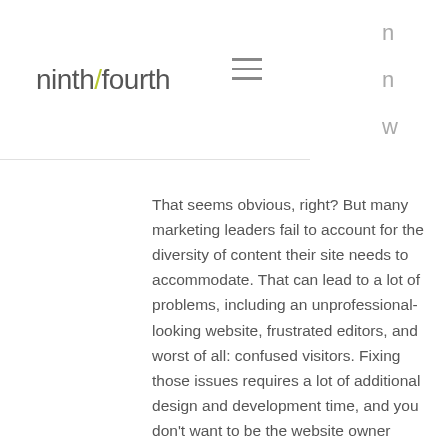ninth/fourth [hamburger menu icon]
That seems obvious, right? But many marketing leaders fail to account for the diversity of content their site needs to accommodate. That can lead to a lot of problems, including an unprofessional-looking website, frustrated editors, and worst of all: confused visitors. Fixing those issues requires a lot of additional design and development time, and you don't want to be the website owner trying to justify that extra investment! Avoiding these problems requires some up-front planning.